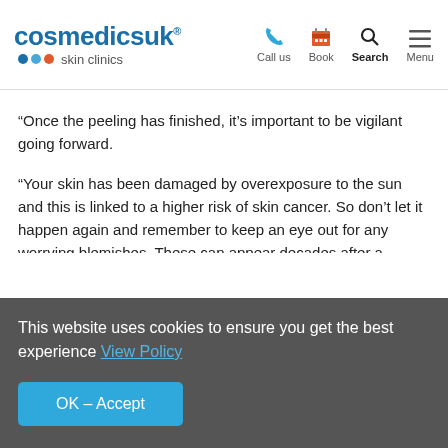cosmedicsuk® skin clinics | Call us | Book | Search | Menu
“Once the peeling has finished, it’s important to be vigilant going forward.
“Your skin has been damaged by overexposure to the sun and this is linked to a higher risk of skin cancer. So don’t let it happen again and remember to keep an eye out for any worrying blemishes. These can appear decades after a sunburn. If you have any concerns about ‘odd’ moles, then see a GP to get them checked out.”
This website uses cookies to ensure you get the best experience View Policy
OK – Accept